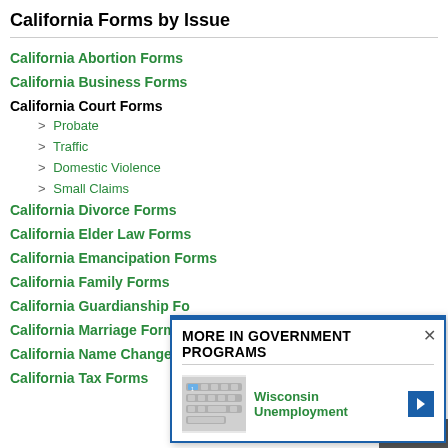California Forms by Issue
California Abortion Forms
California Business Forms
California Court Forms
> Probate
> Traffic
> Domestic Violence
> Small Claims
California Divorce Forms
California Elder Law Forms
California Emancipation Forms
California Family Forms
California Guardianship Fo...
California Marriage Forms
California Name Change Fo...
California Tax Forms
[Figure (screenshot): MORE IN GOVERNMENT PROGRAMS popup with Wisconsin Unemployment link and keyboard image]
TOP